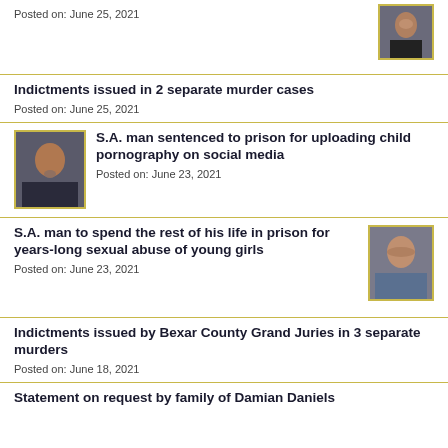Posted on: June 25, 2021
[Figure (photo): Mugshot of a man in black shirt, top right corner]
Indictments issued in 2 separate murder cases
Posted on: June 25, 2021
[Figure (photo): Mugshot of a young man with beard, left side]
S.A. man sentenced to prison for uploading child pornography on social media
Posted on: June 23, 2021
S.A. man to spend the rest of his life in prison for years-long sexual abuse of young girls
[Figure (photo): Mugshot of a bald man in blue shirt, right side]
Posted on: June 23, 2021
Indictments issued by Bexar County Grand Juries in 3 separate murders
Posted on: June 18, 2021
Statement on request by family of Damian Daniels